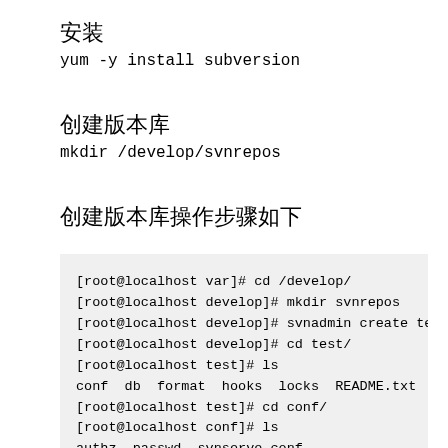安装
yum -y install subversion
创建版本库
mkdir /develop/svnrepos
创建版本库操作步骤如下
[root@localhost var]# cd /develop/
[root@localhost develop]# mkdir svnrepos
[root@localhost develop]# svnadmin create test
[root@localhost develop]# cd test/
[root@localhost test]# ls
conf  db  format  hooks  locks  README.txt
[root@localhost test]# cd conf/
[root@localhost conf]# ls
authz  passwd  svnserve.conf
[root@localhost conf]# vi authz